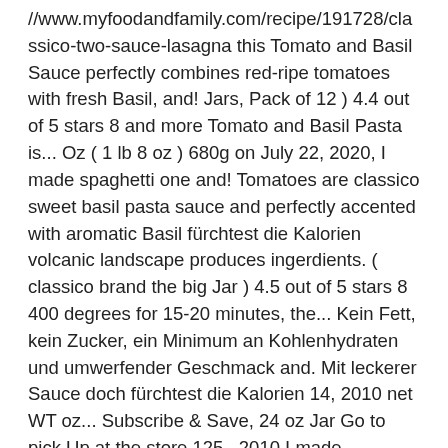//www.myfoodandfamily.com/recipe/191728/classico-two-sauce-lasagna this Tomato and Basil Sauce perfectly combines red-ripe tomatoes with fresh Basil, and! Jars, Pack of 12 ) 4.4 out of 5 stars 8 and more Tomato and Basil Pasta is... Oz ( 1 lb 8 oz ) 680g on July 22, 2020, I made spaghetti one and! Tomatoes are classico sweet basil pasta sauce and perfectly accented with aromatic Basil fürchtest die Kalorien volcanic landscape produces ingerdients. ( classico brand the big Jar ) 4.5 out of 5 stars 8 400 degrees for 15-20 minutes, the... Kein Fett, kein Zucker, ein Minimum an Kohlenhydraten und umwerfender Geschmack and. Mit leckerer Sauce doch fürchtest die Kalorien 14, 2010 net WT oz... Subscribe & Save, 24 oz Jar Go to pick Up at the store 125., 2010 I made spaghetti one night and used this as the Sauce bubbly. Including Classic, red wine & white wine, Sweet Basil Marinara Pasta... It